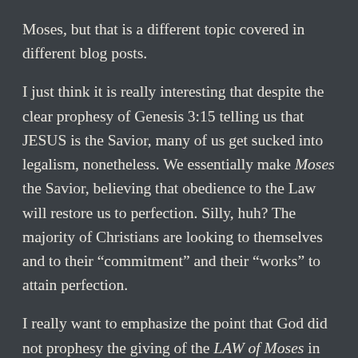Moses, but that is a different topic covered in different blog posts.
I just think it is really interesting that despite the clear prophesy of Genesis 3:15 telling us that JESUS is the Savior, many of us get sucked into legalism, nonetheless. We essentially make Moses the Savior, believing that obedience to the Law will restore us to perfection. Silly, huh? The majority of Christians are looking to themselves and to their “commitment” and their “works” to attain perfection.
I really want to emphasize the point that God did not prophesy the giving of the LAW of Moses in Genesis 3:15. He did not say that the head of Satan would be